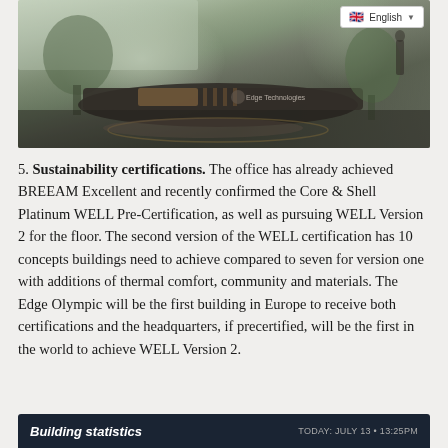[Figure (photo): Interior photograph of a modern office lobby/reception area with a curved dark reception desk, plants, and wood-paneled elements. An 'English' language selector with UK flag appears in the top right corner.]
5. Sustainability certifications. The office has already achieved BREEAM Excellent and recently confirmed the Core & Shell Platinum WELL Pre-Certification, as well as pursuing WELL Version 2 for the floor. The second version of the WELL certification has 10 concepts buildings need to achieve compared to seven for version one with additions of thermal comfort, community and materials. The Edge Olympic will be the first building in Europe to receive both certifications and the headquarters, if precertified, will be the first in the world to achieve WELL Version 2.
Building statistics
TODAY: JULY 13 • 13:25PM